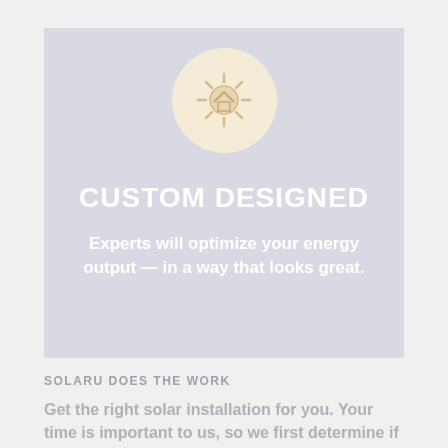[Figure (infographic): A light blue-grey card with a circular warm cream icon at the top, title 'CUSTOM DESIGNED', and subtitle text about energy optimization.]
CUSTOM DESIGNED
Experts will optimize your energy output — in a way that looks great.
SOLARU DOES THE WORK
Get the right solar installation for you. Your time is important to us, so we first determine if